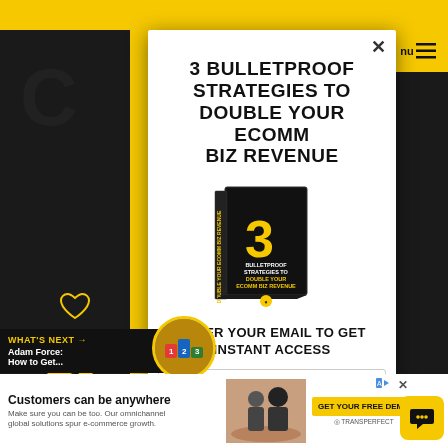3 BULLETPROOF STRATEGIES TO DOUBLE YOUR ECOMM BIZ REVENUE
[Figure (illustration): Book cover with dark background showing number 3 in yellow and text: BULLETPROOF STRATEGIES TO DOUBLE YOUR ECOMM BIZ REVENUE]
ENTER YOUR EMAIL TO GET INSTANT ACCESS
Email
WHAT'S NEXT → Adam Force: How to Get...
Customers can be anywhere
Make sure you can be too. Our omnichannel global solutions spur e-commerce growth.
GET YOUR FREE DEMO